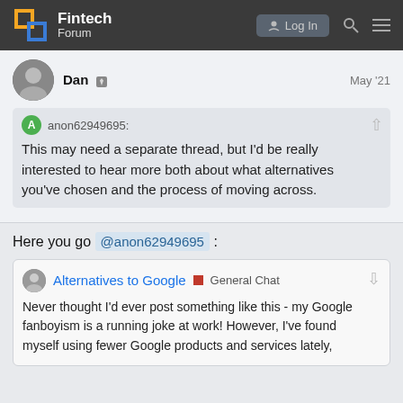Fintech Forum — Log In
Dan  May '21
anon62949695: This may need a separate thread, but I'd be really interested to hear more both about what alternatives you've chosen and the process of moving across.
Here you go @anon62949695 :
Alternatives to Google  General Chat  Never thought I'd ever post something like this - my Google fanboyism is a running joke at work! However, I've found myself using fewer Google products and services lately,